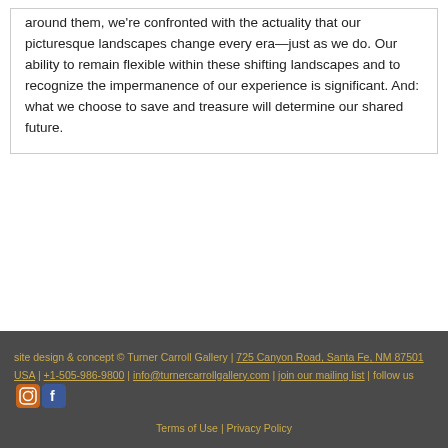around them, we're confronted with the actuality that our picturesque landscapes change every era—just as we do. Our ability to remain flexible within these shifting landscapes and to recognize the impermanence of our experience is significant. And: what we choose to save and treasure will determine our shared future.
site design & concept © Turner Carroll Gallery | 725 Canyon Road, Santa Fe, NM 87501 USA | +1-505-986-9800 | info@turnercarrollgallery.com | join our mailing list | follow us [Instagram] [Facebook] | Terms of Use | Privacy Policy